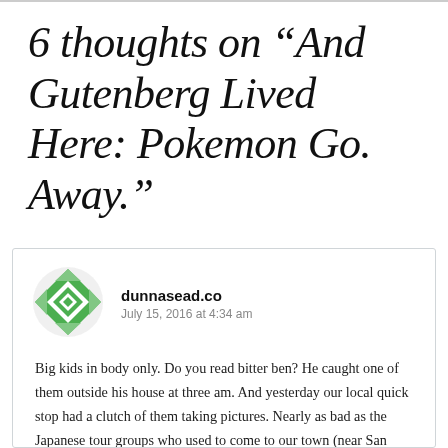6 thoughts on “And Gutenberg Lived Here: Pokemon Go. Away.”
[Figure (illustration): Green geometric diamond-pattern circular avatar icon for user dunnasead.co]
dunnasead.co
July 15, 2016 at 4:34 am
Big kids in body only. Do you read bitter ben? He caught one of them outside his house at three am. And yesterday our local quick stop had a clutch of them taking pictures. Nearly as bad as the Japanese tour groups who used to come to our town (near San Francisco) to buy saddles, and once managed to gett a picture of me in giant hair rollers and moccaisins. And somewhere on a wall, in the vast reaches of Tokyo., hangs a picture. And generations of historians and schoolchildren